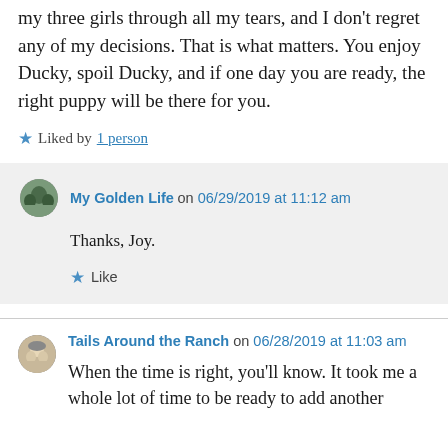my three girls through all my tears, and I don't regret any of my decisions. That is what matters. You enjoy Ducky, spoil Ducky, and if one day you are ready, the right puppy will be there for you.
★ Liked by 1 person
My Golden Life on 06/29/2019 at 11:12 am
Thanks, Joy.
★ Like
Tails Around the Ranch on 06/28/2019 at 11:03 am
When the time is right, you'll know. It took me a whole lot of time to be ready to add another